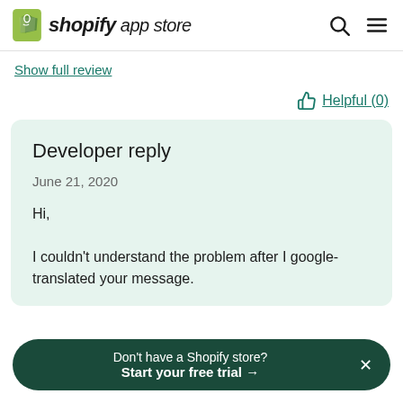shopify app store
Show full review
Helpful (0)
Developer reply
June 21, 2020
Hi,

I couldn't understand the problem after I google-translated your message.
Don't have a Shopify store?
Start your free trial →